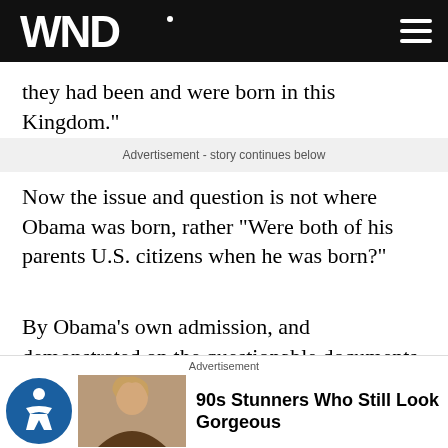WND
they had been and were born in this Kingdom."
Advertisement - story continues below
Now the issue and question is not where Obama was born, rather "Were both of his parents U.S. citizens when he was born?"
By Obama's own admission, and demonstrated on the questionable documents he has provided the public, the answer is "NO."
Advertisement
90s Stunners Who Still Look Gorgeous